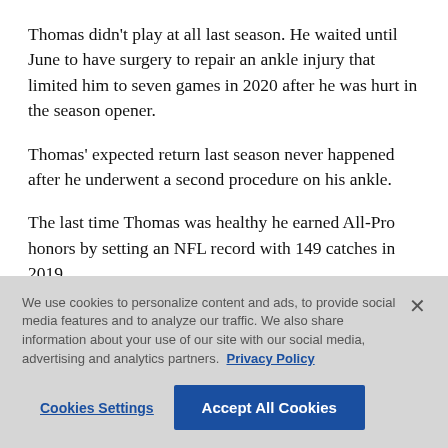Thomas didn't play at all last season. He waited until June to have surgery to repair an ankle injury that limited him to seven games in 2020 after he was hurt in the season opener.
Thomas' expected return last season never happened after he underwent a second procedure on his ankle.
The last time Thomas was healthy he earned All-Pro honors by setting an NFL record with 149 catches in 2019.
We use cookies to personalize content and ads, to provide social media features and to analyze our traffic. We also share information about your use of our site with our social media, advertising and analytics partners. Privacy Policy
Cookies Settings
Accept All Cookies